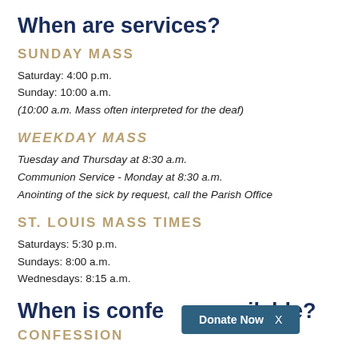When are services?
SUNDAY MASS
Saturday: 4:00 p.m.
Sunday: 10:00 a.m.
(10:00 a.m. Mass often interpreted for the deaf)
WEEKDAY MASS
Tuesday and Thursday at 8:30 a.m.
Communion Service - Monday at 8:30 a.m.
Anointing of the sick by request, call the Parish Office
ST. LOUIS MASS TIMES
Saturdays: 5:30 p.m.
Sundays: 8:00 a.m.
Wednesdays: 8:15 a.m.
When is confession available?
CONFESSION